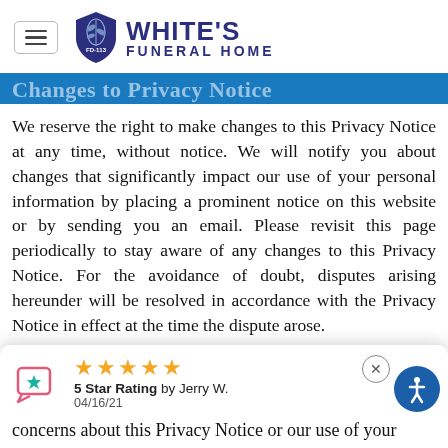White's Funeral Home FD-113
Changes to Privacy Notice
We reserve the right to make changes to this Privacy Notice at any time, without notice. We will notify you about changes that significantly impact our use of your personal information by placing a prominent notice on this website or by sending you an email. Please revisit this page periodically to stay aware of any changes to this Privacy Notice. For the avoidance of doubt, disputes arising hereunder will be resolved in accordance with the Privacy Notice in effect at the time the dispute arose.
[Figure (other): Review widget showing 5 star rating by Jerry W. dated 04/16/21, with a book/chat icon and accessibility button]
concerns about this Privacy Notice or our use of your